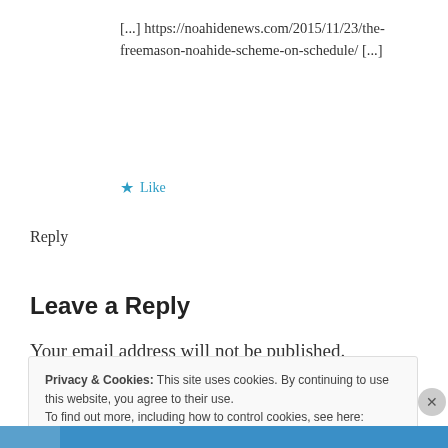[...] https://noahidenews.com/2015/11/23/the-freemason-noahide-scheme-on-schedule/ [...]
★ Like
Reply
Leave a Reply
Your email address will not be published.
Privacy & Cookies: This site uses cookies. By continuing to use this website, you agree to their use. To find out more, including how to control cookies, see here: Cookie Policy
Close and accept